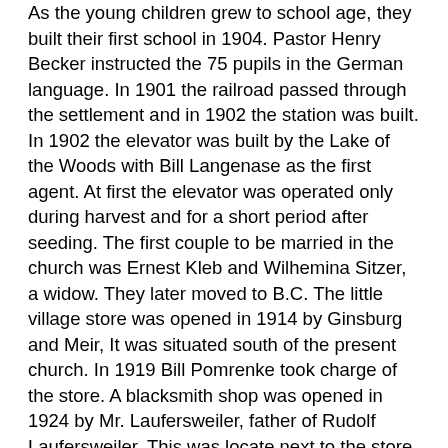As the young children grew to school age, they built their first school in 1904. Pastor Henry Becker instructed the 75 pupils in the German language. In 1901 the railroad passed through the settlement and in 1902 the station was built. In 1902 the elevator was built by the Lake of the Woods with Bill Langenase as the first agent. At first the elevator was operated only during harvest and for a short period after seeding. The first couple to be married in the church was Ernest Kleb and Wilhemina Sitzer, a widow. They later moved to B.C. The little village store was opened in 1914 by Ginsburg and Meir, It was situated south of the present church. In 1919 Bill Pomrenke took charge of the store. A blacksmith shop was opened in 1924 by Mr. Laufersweiler, father of Rudolf Laufersweiler. This was locate next to the store. The hopes of a post office at Fredensthal did not materialize. Often people would go to the station at train time and the conductor would hand them their mail and accept anything they wished to mail. Those people have seen many changes in their time, from loading wheat on barges on the Red River, to the modern elevator system and from hand seeding their first grain to the present big seed drills. They experienced a lot of hardships but the freedom of religion and speech they enjoyed in this new land more than compensated for these for they had been a persecuted people in Russia. They shared many good times with each other as they were a close knit